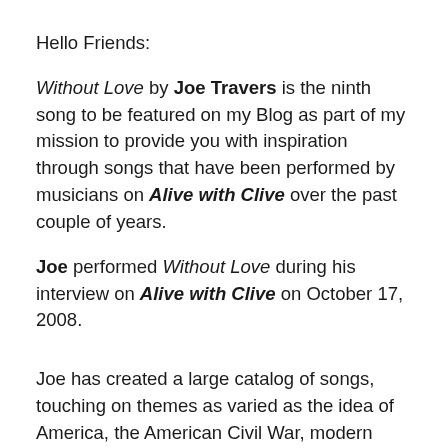Hello Friends:
Without Love by Joe Travers is the ninth song to be featured on my Blog as part of my mission to provide you with inspiration through songs that have been performed by musicians on Alive with Clive over the past couple of years.
Joe performed Without Love during his interview on Alive with Clive on October 17, 2008.
Joe has created a large catalog of songs, touching on themes as varied as the idea of America, the American Civil War, modern physics, coming of age, the Greek myths, love and loss, and the hero within.  His storytelling – through colorful lyrics, melody and choruses – leaves